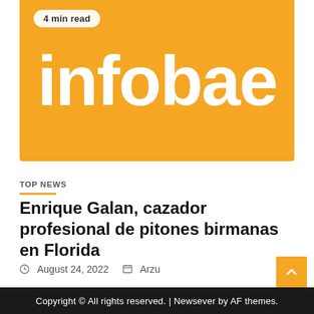[Figure (logo): Infobae orange banner logo with white bold text 'infobae' on orange background]
4 min read
TOP NEWS
Enrique Galan, cazador profesional de pitones birmanas en Florida
August 24, 2022  Arzu
Copyright © All rights reserved. | Newsever by AF themes.